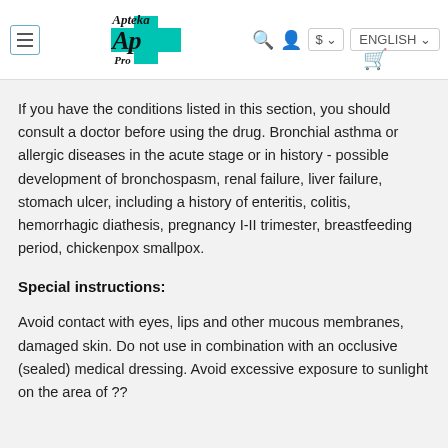[Figure (logo): Apteka Pro pharmacy logo with teal cross and script lettering, navigation bar with search, user, currency ($), language (ENGLISH) controls and shopping cart icon]
If you have the conditions listed in this section, you should consult a doctor before using the drug. Bronchial asthma or allergic diseases in the acute stage or in history - possible development of bronchospasm, renal failure, liver failure, stomach ulcer, including a history of enteritis, colitis, hemorrhagic diathesis, pregnancy I-II trimester, breastfeeding period, chickenpox smallpox.
Special instructions:
Avoid contact with eyes, lips and other mucous membranes, damaged skin. Do not use in combination with an occlusive (sealed) medical dressing. Avoid excessive exposure to sunlight on the area of ??